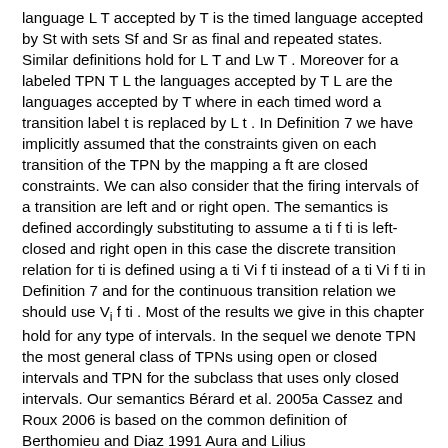language L T accepted by T is the timed language accepted by St with sets Sf and Sr as final and repeated states. Similar definitions hold for L T and Lw T . Moreover for a labeled TPN T L the languages accepted by T L are the languages accepted by T where in each timed word a transition label t is replaced by L t . In Definition 7 we have implicitly assumed that the constraints given on each transition of the TPN by the mapping a ft are closed constraints. We can also consider that the firing intervals of a transition are left and or right open. The semantics is defined accordingly substituting to assume a ti f ti is left-closed and right open in this case the discrete transition relation for ti is defined using a ti Vi f ti instead of a ti Vi f ti in Definition 7 and for the continuous transition relation we should use Vi f ti . Most of the results we give in this chapter hold for any type of intervals. In the sequel we denote TPN the most general class of TPNs using open or closed intervals and TPN for the subclass that uses only closed intervals. Our semantics Bérard et al. 2005a Cassez and Roux 2006 is based on the common definition of Berthomieu and Diaz 1991 Aura and Lilius